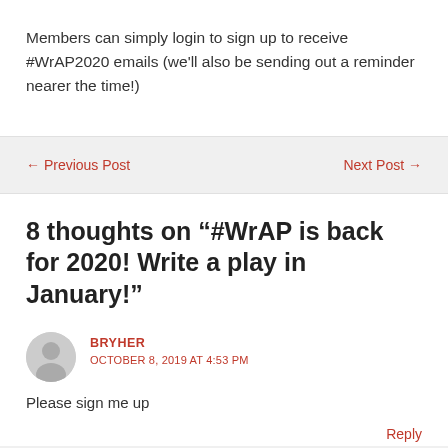Members can simply login to sign up to receive #WrAP2020 emails (we'll also be sending out a reminder nearer the time!)
← Previous Post
Next Post →
8 thoughts on "#WrAP is back for 2020! Write a play in January!"
BRYHER
OCTOBER 8, 2019 AT 4:53 PM
Please sign me up
Reply